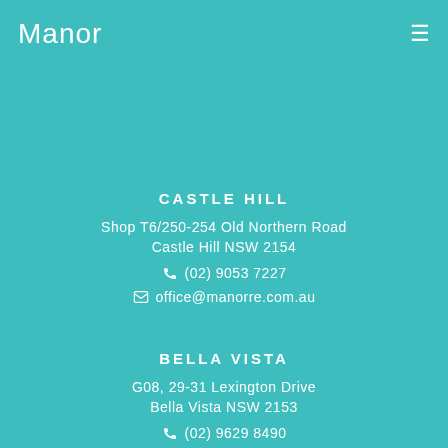Manor
CASTLE HILL
Shop T6/250-254 Old Northern Road
Castle Hill NSW 2154
(02) 9053 7227
office@manorre.com.au
BELLA VISTA
G08, 29-31 Lexington Drive
Bella Vista NSW 2153
(02) 9629 8490
admin@manorre.com.au